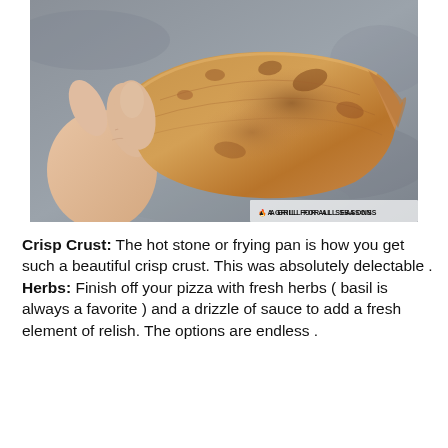[Figure (photo): A hand holding up a thin, crispy, golden-brown pizza crust against a grey background. The crust appears very thin and irregular in shape with some tomato sauce visible. A watermark reads 'A GRILL FOR ALL SEASONS' with a small grill icon.]
Crisp Crust: The hot stone or frying pan is how you get such a beautiful crisp crust. This was absolutely delectable . Herbs: Finish off your pizza with fresh herbs ( basil is always a favorite ) and a drizzle of sauce to add a fresh element of relish. The options are endless .